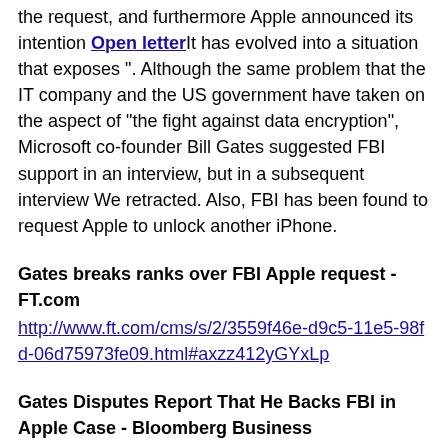the request, and furthermore Apple announced its intention Open letter It has evolved into a situation that exposes ". Although the same problem that the IT company and the US government have taken on the aspect of "the fight against data encryption", Microsoft co-founder Bill Gates suggested FBI support in an interview, but in a subsequent interview We retracted. Also, FBI has been found to request Apple to unlock another iPhone.
Gates breaks ranks over FBI Apple request - FT.com
http://www.ft.com/cms/s/2/3559f46e-d9c5-11e5-98fd-06d75973fe09.html#axzz412yGYxLp
Gates Disputes Report That He Backs FBI in Apple Case - Bloomberg Business
http://www.bloomberg.com/news/videos/2016-02-23/gates-disputes-report-that-he-backs-fbi-in-apple-dispute